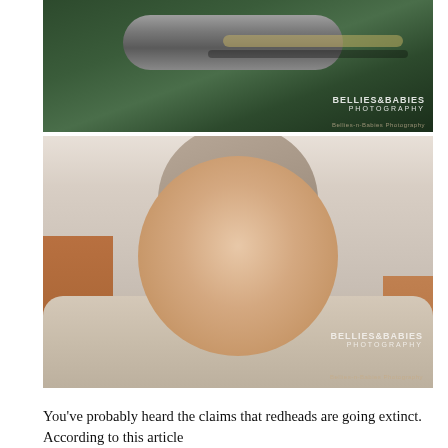[Figure (photo): Top photo: Nature/forestry scene with birch log surrounded by green pine branches and red berries. Watermark reads 'BELLIES & BABIES PHOTOGRAPHY' and 'Bellies-n-Babies Photography']
[Figure (photo): Bottom photo: Sleeping newborn baby wearing a knit beige hat, wrapped in a beige lace wrap, resting on hands with warm brown fabric background. Watermark reads 'BELLIES & BABIES PHOTOGRAPHY' and 'Bellies-n-Babies Photography']
You've probably heard the claims that redheads are going extinct. According to this article